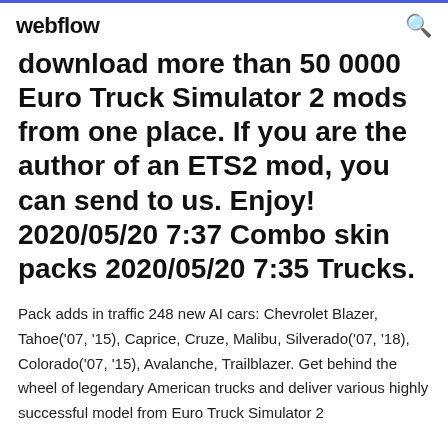webflow
download more than 50 0000 Euro Truck Simulator 2 mods from one place. If you are the author of an ETS2 mod, you can send to us. Enjoy! 2020/05/20 7:37 Combo skin packs 2020/05/20 7:35 Trucks.
Pack adds in traffic 248 new AI cars: Chevrolet Blazer, Tahoe('07, '15), Caprice, Cruze, Malibu, Silverado('07, '18), Colorado('07, '15), Avalanche, Trailblazer. Get behind the wheel of legendary American trucks and deliver various highly successful model from Euro Truck Simulator 2